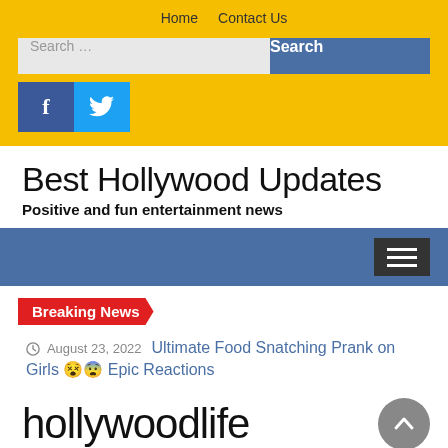Home  Contact Us
[Figure (screenshot): Search bar with text 'Search ...' and a blue Search button]
[Figure (other): Facebook and Twitter social media icon buttons]
Best Hollywood Updates
Positive and fun entertainment news
[Figure (other): Blue navigation bar with hamburger menu button on the right]
Breaking News
August 23, 2022  Ultimate Food Snatching Prank on Girls 😵😨 Epic Reactions
[Figure (logo): hollywoodlife logo in large thin font]
[Figure (other): Scroll to top button - circular grey button with upward chevron]